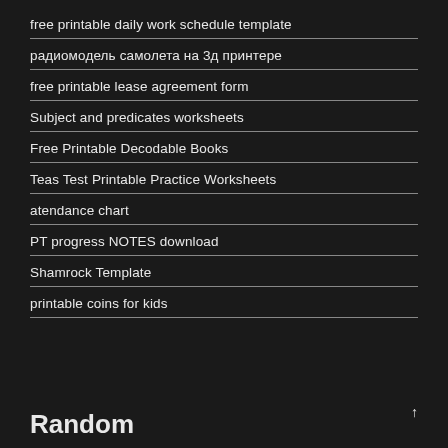free printable daily work schedule template
радиомодель самолета на 3д принтере
free printable lease agreement form
Subject and predicates worksheets
Free Printable Decodable Books
Teas Test Printable Practice Worksheets
atendance chart
PT progress NOTES download
Shamrock Template
printable coins for kids
Random